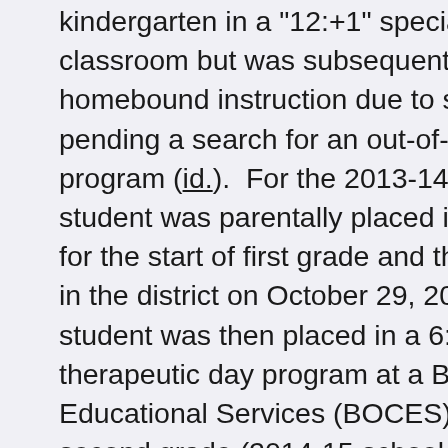kindergarten in a "12:+1" special education classroom but was subsequently placed on homebound instruction due to safety concerns pending a search for an out-of-district therapeutic program (id.).  For the 2013-14 school year, the student was parentally placed in a private school for the start of first grade and then was re-enrolled in the district on October 29, 2013 (id.).  The student was then placed in a 6:1+1 special class therapeutic day program at a Board of Cooperative Educational Services (BOCES) school (id.).  During second grade (2014-15 school year), the student received the support of a 1:1 aide and increased counseling services due to an increase in negative behavior and safety concerns arising in November 2014 (id.).  In January 2015, the CSE...